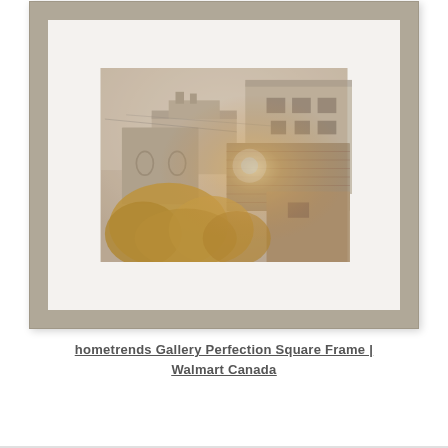[Figure (photo): A framed artwork photograph showing a vintage/sepia-toned image of old European stone buildings and rooftops with golden sunlight flare, displayed in a gray wooden gallery-style square frame with white mat.]
hometrends Gallery Perfection Square Frame | Walmart Canada